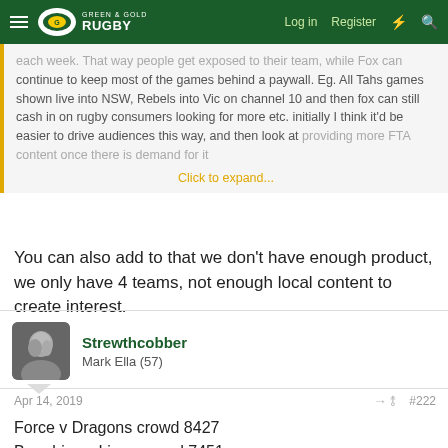Green & Gold Rugby — Log in  Register
each week. That way people get exposed to their team, while Fox can continue to keep most of the games behind a paywall. Eg. All Tahs games shown live into NSW, Rebels into Vic on channel 10 and then fox can still cash in on rugby consumers looking for more etc. initially I think it'd be easier to drive audiences this way, and then look at providing more FTA content once there is demand for it
Click to expand...
You can also add to that we don't have enough product, we only have 4 teams, not enough local content to create interest.
Strewthcobber
Mark Ella (57)
Apr 14, 2019  #222
Force v Dragons crowd 8427
Brumbies v Lions crowd 7451
Rebels don't seem to have published. Anyone see a number?